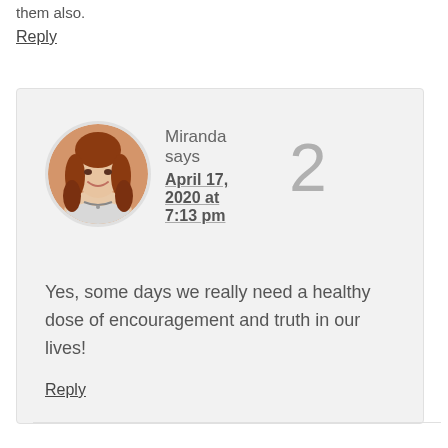them also.
Reply
[Figure (photo): Circular avatar photo of Miranda, a woman with reddish-brown hair and a necklace, smiling]
Miranda says
April 17, 2020 at 7:13 pm
2
Yes, some days we really need a healthy dose of encouragement and truth in our lives!
Reply